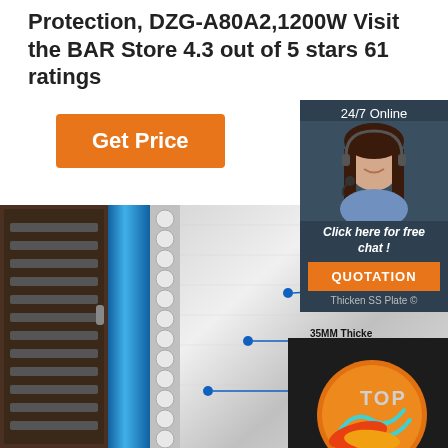Protection, DZG-A80A2,1200W Visit the BAR Store 4.3 out of 5 stars 61 ratings
Get Price
24/7 Online
Click here for free chat !
QUOTATION
Thicken SS Plate
[Figure (photo): Cross-section diagram of a food dehydrator showing oven with shelves, blue insulation strip, bubble insulation, stainless steel panel, with annotations for No-finger, 35MM Thicke(ness), and Thicken SS Plate. Bottom right shows a circular logo with TOP text and arrows on dark background.]